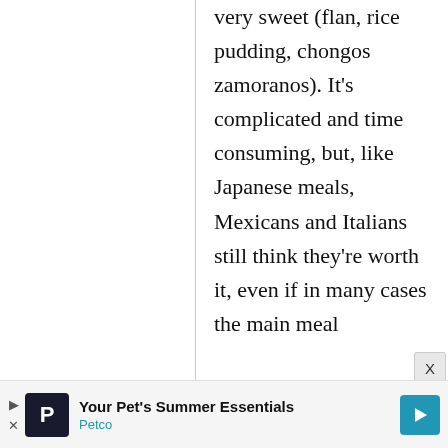very sweet (flan, rice pudding, chongos zamoranos). It's complicated and time consuming, but, like Japanese meals, Mexicans and Italians still think they're worth it, even if in many cases the main meal
[Figure (other): Petco advertisement banner: 'Your Pet's Summer Essentials' with Petco logo and blue arrow navigation icon]